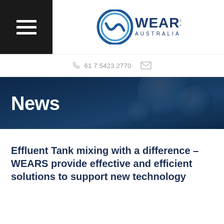WEARS AUSTRALIA
61 7 5423 2770
[Figure (other): News banner with water/bubbles background image and dark blue overlay]
Effluent Tank mixing with a difference – WEARS provide effective and efficient solutions to support new technology